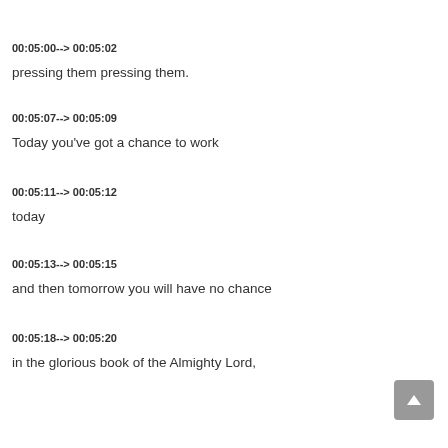00:05:00--> 00:05:02
pressing them pressing them.
00:05:07--> 00:05:09
Today you've got a chance to work
00:05:11--> 00:05:12
today
00:05:13--> 00:05:15
and then tomorrow you will have no chance
00:05:18--> 00:05:20
in the glorious book of the Almighty Lord,